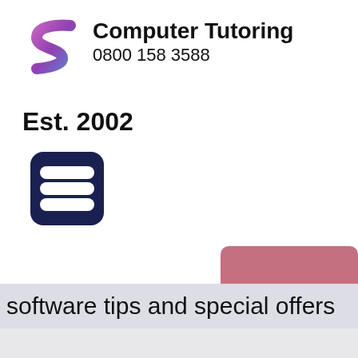[Figure (logo): Computer Tutoring logo with stylized S shape in purple/pink gradient]
Computer Tutoring
0800 158 3588
Est. 2002
[Figure (other): Dark navy hamburger menu icon with three horizontal bars and rounded rectangle border]
[Figure (other): Partially visible pink/rose colored button]
Course Search
software tips and special offers